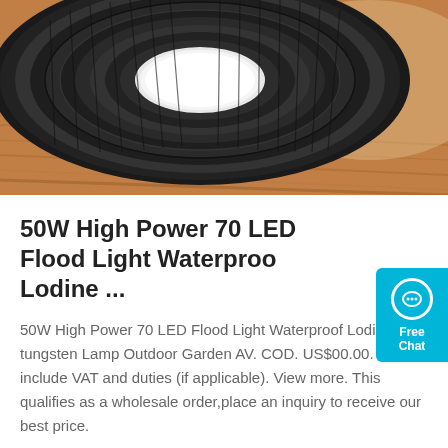[Figure (photo): LED UFO high bay flood light sitting on wooden surface, viewed from above showing circular black heat sink fins and white diffuser lens]
50W High Power 70 LED Flood Light Waterproo Lodine ...
50W High Power 70 LED Flood Light Waterproof Lodine-tungsten Lamp Outdoor Garden AV. COD. US$00.00. Prices include VAT and duties (if applicable). View more. This qualifies as a wholesale order,place an inquiry to receive our best price.
[Figure (other): Free Chat widget button in cyan/blue color with chat bubble icon]
Get Price